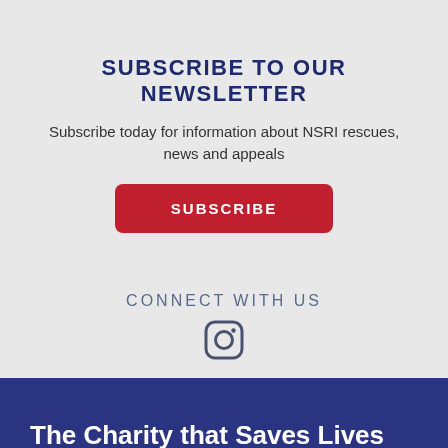SUBSCRIBE TO OUR NEWSLETTER
Subscribe today for information about NSRI rescues, news and appeals
[Figure (other): Red subscribe button with white uppercase text SUBSCRIBE]
CONNECT WITH US
[Figure (other): Instagram social media icon, circular camera logo in dark navy/grey]
The Charity that Saves Lives on South African Waters